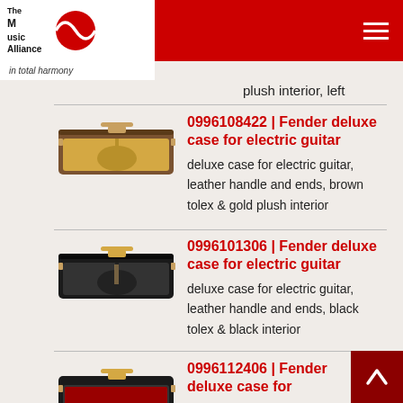The Music Alliance — in total harmony
plush interior, left
0996108422 | Fender deluxe case for electric guitar — deluxe case for electric guitar, leather handle and ends, brown tolex & gold plush interior
0996101306 | Fender deluxe case for electric guitar — deluxe case for electric guitar, leather handle and ends, black tolex & black interior
0996112406 | Fender deluxe case for